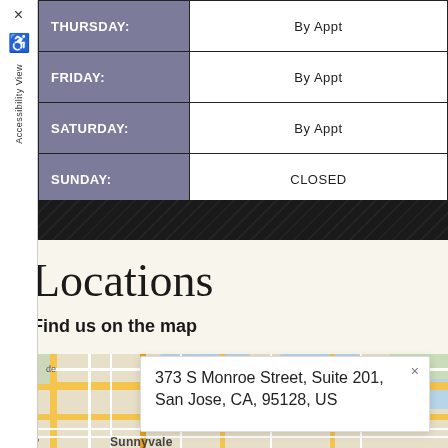| Day | Hours |
| --- | --- |
| THURSDAY: | By Appt |
| FRIDAY: | By Appt |
| SATURDAY: | By Appt |
| SUNDAY: | CLOSED |
Locations
Find us on the map
[Figure (map): Street map showing location near San Jose, CA with zoom controls and address popup]
373 S Monroe Street, Suite 201, San Jose, CA, 95128, US